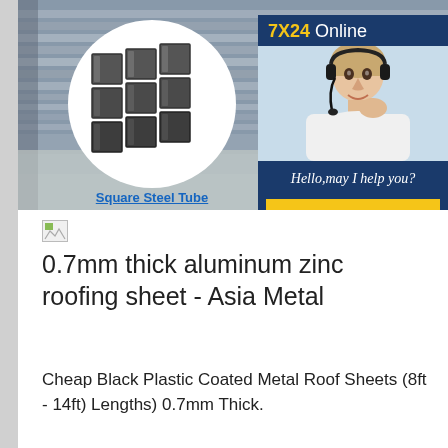[Figure (photo): Banner showing steel tubes/sheets in background. Left circle shows square steel tube bundle. Right side shows partial circle with metal sheets. Far right shows 7X24 Online support widget with customer service representative photo, 'Hello,may I help you?' text, and 'Get Latest Price' button.]
Square Steel Tube
[Figure (photo): Small broken image icon placeholder]
0.7mm thick aluminum zinc roofing sheet - Asia Metal
Cheap Black Plastic Coated Metal Roof Sheets (8ft - 14ft) Lengths) 0.7mm Thick.